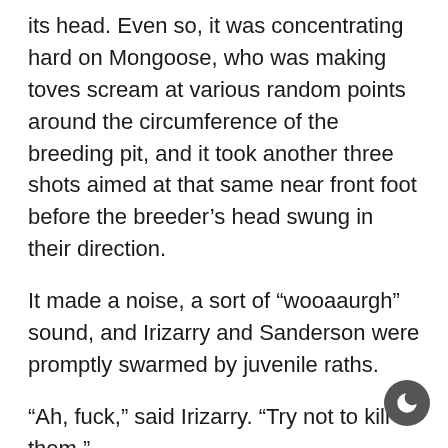its head. Even so, it was concentrating hard on Mongoose, who was making toves scream at various random points around the circumference of the breeding pit, and it took another three shots aimed at that same near front foot before the breeder's head swung in their direction.
It made a noise, a sort of “wooaaurgh” sound, and Irizarry and Sanderson were promptly swarmed by juvenile raths.
“Ah, fuck,” said Irizarry. “Try not to kill them.”
“I’m sorry, try not to kill them?”
“If we kill too many of them, it’ll decide we’re a threat rather than an annoyance. And then it rolls up in a ball, and we have